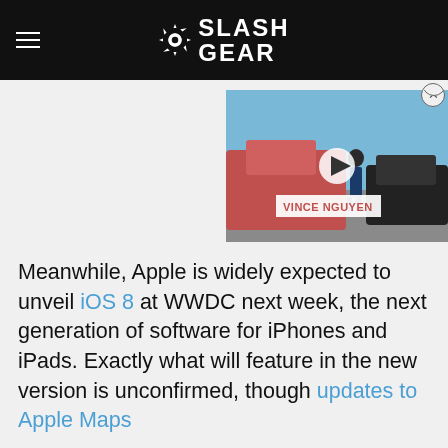SlashGear
[Figure (screenshot): Video player thumbnail showing a person standing between two cars on a road, with a play button overlay and 'VINCE NGUYEN' label, and a close (X) button]
Meanwhile, Apple is widely expected to unveil iOS 8 at WWDC next week, the next generation of software for iPhones and iPads. Exactly what will feature in the new version is unconfirmed, though updates to Apple Maps